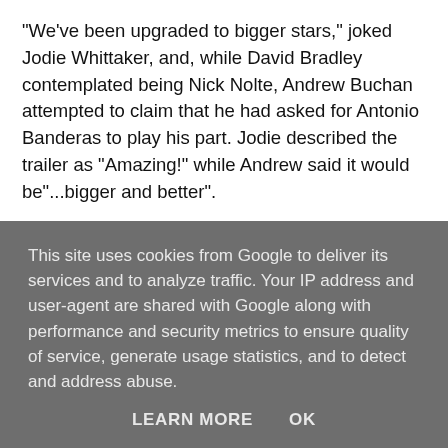"We've been upgraded to bigger stars," joked Jodie Whittaker, and, while David Bradley contemplated being Nick Nolte, Andrew Buchan attempted to claim that he had asked for Antonio Banderas to play his part. Jodie described the trailer as "Amazing!" while Andrew said it would be"...bigger and better".
Their co-star David Tennant has been shooting Gracepoint in Canada for the last few months but will soon be back in the UK to start work on the second series of Broadchurch. Andrew and Jodie will also be returning, along with Olivia Colman, and Arthur Darvill, who told fans at the Collectormania event in
This site uses cookies from Google to deliver its services and to analyze traffic. Your IP address and user-agent are shared with Google along with performance and security metrics to ensure quality of service, generate usage statistics, and to detect and address abuse.
LEARN MORE   OK